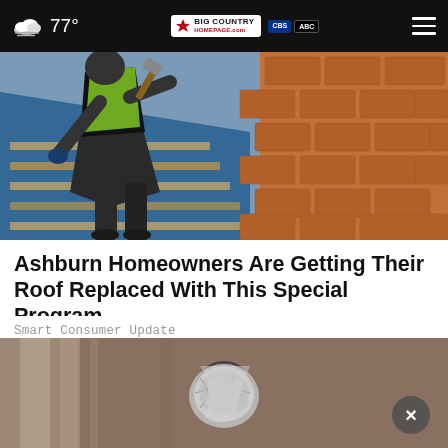77° Big Country Homepage
[Figure (photo): Worker in a yellow safety vest installing or repairing a roof, with blue underlayment and terracotta tiles visible]
Ashburn Homeowners Are Getting Their Roof Replaced With This Special Program
Smart Consumer Update
[Figure (photo): Close-up of a door knob with aluminum foil wrapped around it, with a circular close button overlay]